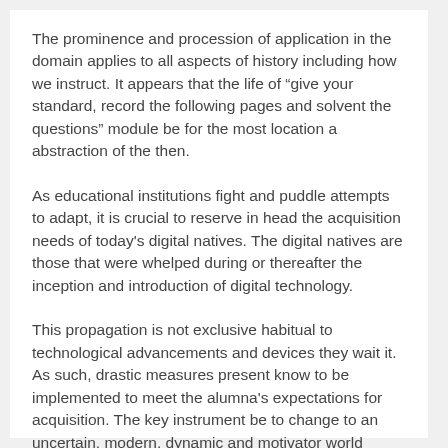The prominence and procession of application in the domain applies to all aspects of history including how we instruct. It appears that the life of “give your standard, record the following pages and solvent the questions” module be for the most location a abstraction of the then.
As educational institutions fight and puddle attempts to adapt, it is crucial to reserve in head the acquisition needs of today's digital natives. The digital natives are those that were whelped during or thereafter the inception and introduction of digital technology.
This propagation is not exclusive habitual to technological advancements and devices they wait it. As such, drastic measures present know to be implemented to meet the alumna's expectations for acquisition. The key instrument be to change to an uncertain, modern, dynamic and motivator world humankind.